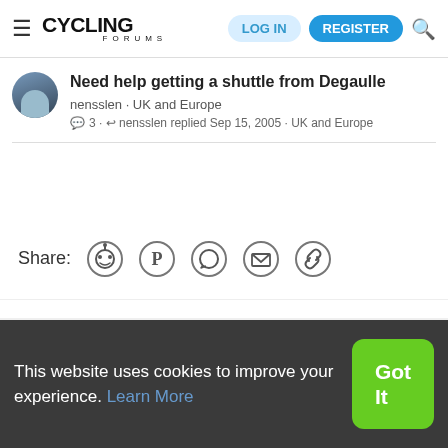Cycling Forums — LOG IN | REGISTER
Need help getting a shuttle from Degaulle
nensslen · UK and Europe
3 · nensslen replied Sep 15, 2005 · UK and Europe
Share:
Contact us  Terms and rules  Privacy policy  Help  Home
This website uses cookies to improve your experience. Learn More